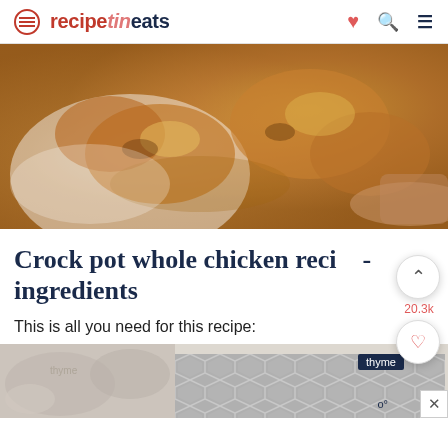recipetineats
[Figure (photo): Close-up photo of golden-brown cooked chicken pieces in a dish, hands handling the chicken]
Crock pot whole chicken recipe ingredients
This is all you need for this recipe:
[Figure (photo): Bottom portion showing a partially visible food photo on the left and a geometric hexagon-pattern advertisement on the right, with a dark navy label reading 'thyme' and a degree marker]